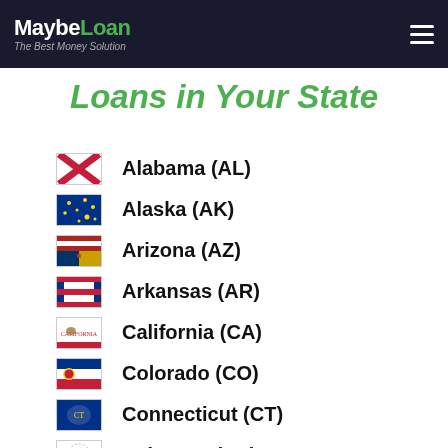MaybeLoan — The Best Money Solution
Loans in Your State
Alabama (AL)
Alaska (AK)
Arizona (AZ)
Arkansas (AR)
California (CA)
Colorado (CO)
Connecticut (CT)
Delaware (DE)
Florida (FL)
Georgia (GA)